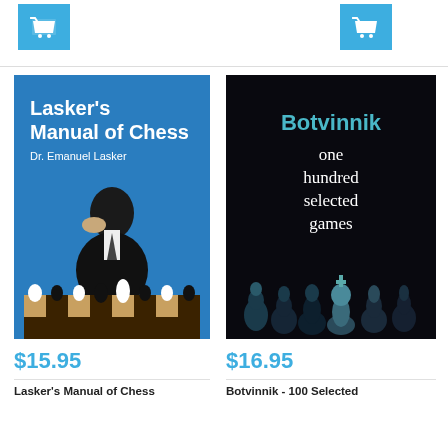[Figure (other): Blue cart/shopping button icon top left]
[Figure (other): Blue cart/shopping button icon top right]
[Figure (photo): Book cover: Lasker's Manual of Chess by Dr. Emanuel Lasker, blue cover with black and white photo of man at chess board]
$15.95
Lasker's Manual of Chess
[Figure (photo): Book cover: Botvinnik one hundred selected games, dark cover with chess pieces]
$16.95
Botvinnik - 100 Selected